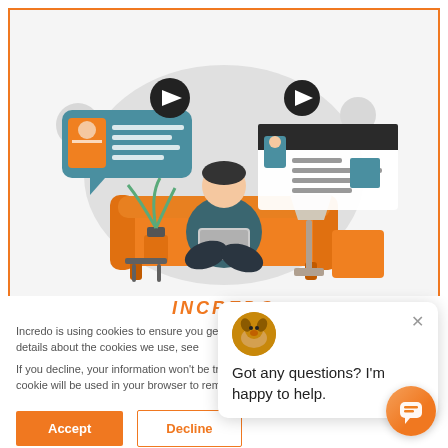[Figure (illustration): Person sitting cross-legged on an orange sofa using a laptop, with video chat bubbles, a plant, and a lamp in the background. Orange border frame.]
Incredo is using cookies to ensure you get a solid browsing experience. For more details about the cookies we use, see
If you decline, your information won't be tracked when you visit this website. A single cookie will be used in your browser to remember your preference not to be tracked.
Got any questions? I'm happy to help.
Accept
Decline